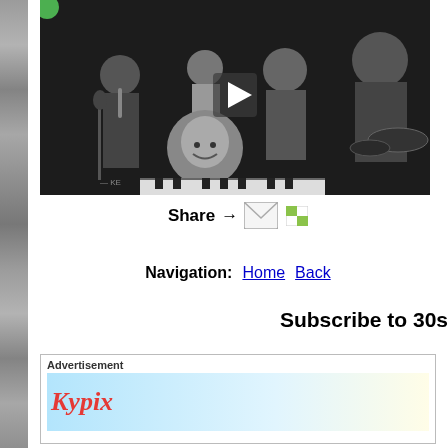[Figure (screenshot): Black and white vintage video player screenshot showing a jazz band with musicians at instruments, a piano player smiling in the foreground, with a play button overlay and green circle icon in top-left corner.]
Share → [envelope icon] [image icon]
Navigation:   Home   Back
Subscribe to 30s
Advertisement
[Figure (logo): Kypix logo in red italic text on a light blue/yellow gradient background]